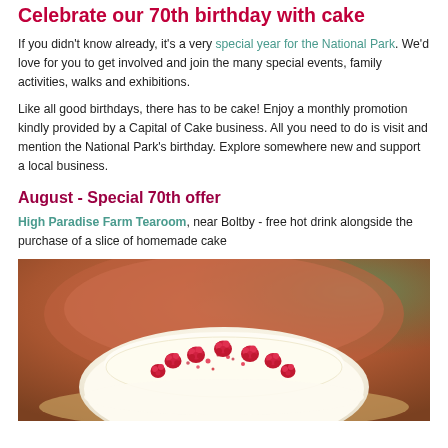Celebrate our 70th birthday with cake
If you didn't know already, it's a very special year for the National Park. We'd love for you to get involved and join the many special events, family activities, walks and exhibitions.
Like all good birthdays, there has to be cake! Enjoy a monthly promotion kindly provided by a Capital of Cake business. All you need to do is visit and mention the National Park's birthday. Explore somewhere new and support a local business.
August - Special 70th offer
High Paradise Farm Tearoom, near Boltby - free hot drink alongside the purchase of a slice of homemade cake
[Figure (photo): Close-up photo of a white frosted cake topped with fresh raspberries and red sprinkles, on a plate, with a blurred terracotta pot and green foliage in the background.]